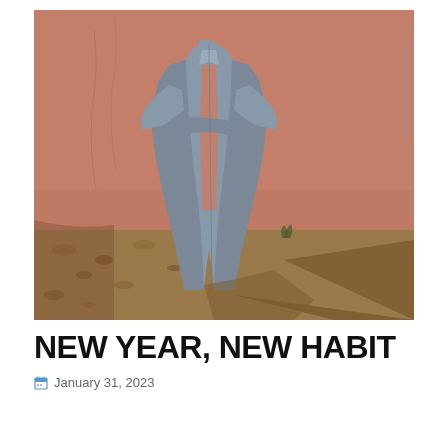[Figure (photo): Person standing with arms crossed wearing a long gray/blue open robe or duster coat against a terracotta/adobe wall, with rocky sandy ground and a cast shadow visible.]
NEW YEAR, NEW HABIT
January 31, 2023